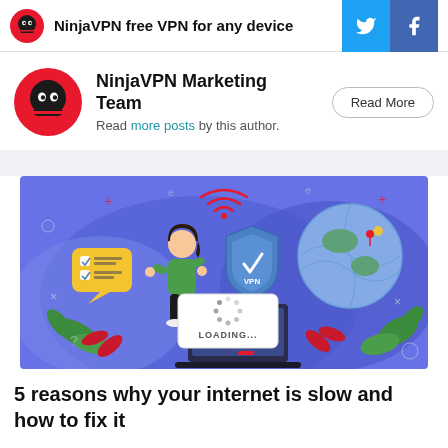NinjaVPN free VPN for any device
NinjaVPN Marketing Team
Read more posts by this author.
[Figure (illustration): Illustration of a woman using a laptop with VPN shield, globe, wifi signals, and a loading screen showing 'LOADING...' on a purple/blue background]
5 reasons why your internet is slow and how to fix it